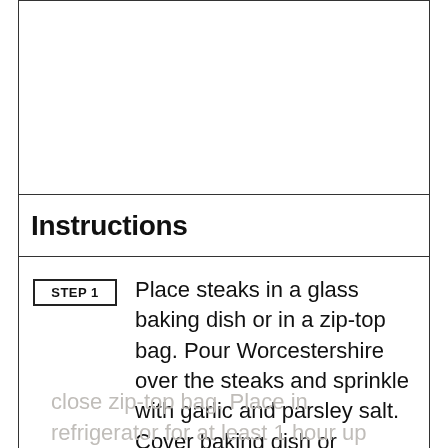[Figure (photo): Empty white image placeholder area with border]
Instructions
STEP 1 — Place steaks in a glass baking dish or in a zip-top bag. Pour Worcestershire over the steaks and sprinkle with garlic and parsley salt. Cover baking dish or close zip-top bag. Place in refrigerator for at least 1 hour up